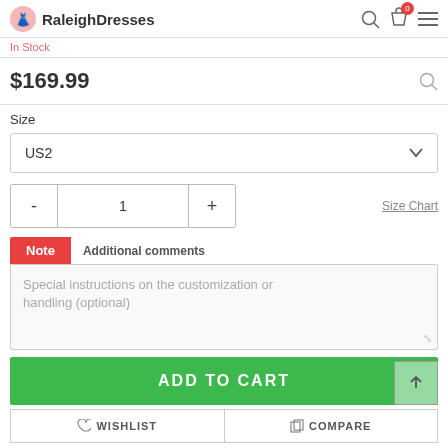RaleighDresses
In Stock
$169.99
Size
US2
- 1 +
Size Chart
Note   Additional comments
Special instructions on the customization or handling (optional)
ADD TO CART
WISHLIST
COMPARE